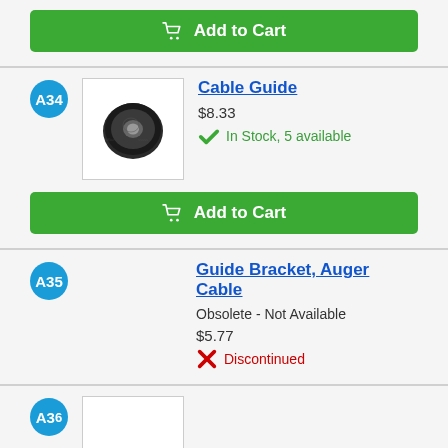[Figure (other): Add to Cart button (green) at top of page]
[Figure (photo): Cable Guide part - black donut/washer shaped metal part]
Cable Guide
$8.33
In Stock, 5 available
[Figure (other): Add to Cart button (green) below Cable Guide]
Guide Bracket, Auger Cable
Obsolete - Not Available
$5.77
Discontinued